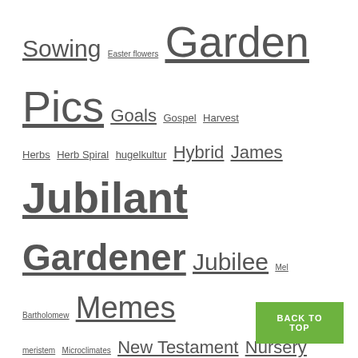Sowing Easter flowers Garden Pics Goals Gospel Harvest Herbs Herb Spiral hugelkultur Hybrid James Jubilant Jubilant Gardener Jubilee Mel Bartholomew Memes meristem Microclimates New Testament Nursery Transplants vs Direct Sowing vs Indoor Seed Starting parables Permaculture Phone Wallpaper Plant IDs Planting Guide Pruning Psalms Rest Resurrection Sabbath Seeds Square Foot Gardening (SFG) Tips & Tricks Transplants WCW Weeds
- CATEGORIES -
Books
Bugs